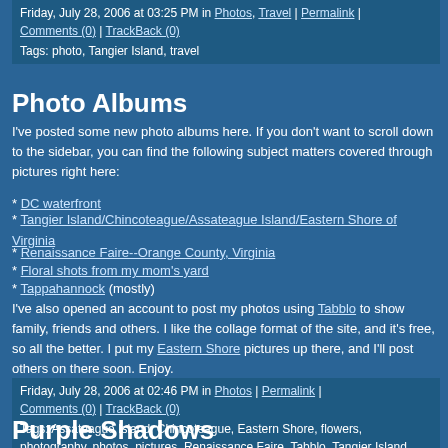Friday, July 28, 2006 at 03:25 PM in Photos, Travel | Permalink | Comments (0) | TrackBack (0) Tags: photo, Tangier Island, travel
Photo Albums
I've posted some new photo albums here. If you don't want to scroll down to the sidebar, you can find the following subject matters covered through pictures right here:
* DC waterfront
* Tangier Island/Chincoteague/Assateague Island/Eastern Shore of Virginia
* Renaissance Faire--Orange County, Virginia
* Floral shots from my mom's yard
* Tappahannock (mostly)
I've also opened an account to post my photos using Tabblo to show family, friends and others. I like the collage format of the site, and it's free, so all the better. I put my Eastern Shore pictures up there, and I'll post others on there soon. Enjoy.
Friday, July 28, 2006 at 02:46 PM in Photos | Permalink | Comments (0) | TrackBack (0) Tags: Assateague Island, Chincoteague, Eastern Shore, flowers, photography, photos, pictures, Renaissance Faire, Tabblo, Tangier Island, Tappahannock, Washington DC
Purple Shadows